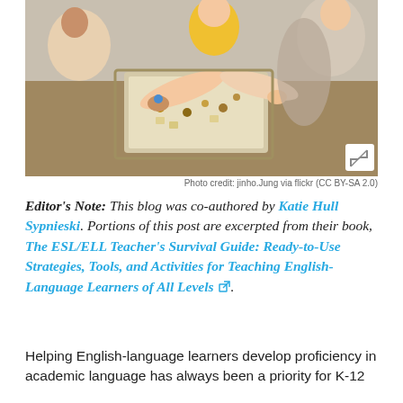[Figure (photo): Children sitting around a table engaging in a board game or educational activity, with hands visible reaching across the surface.]
Photo credit: jinho.Jung via flickr (CC BY-SA 2.0)
Editor's Note: This blog was co-authored by Katie Hull Sypnieski. Portions of this post are excerpted from their book, The ESL/ELL Teacher's Survival Guide: Ready-to-Use Strategies, Tools, and Activities for Teaching English-Language Learners of All Levels.
Helping English-language learners develop proficiency in academic language has always been a priority for K-12